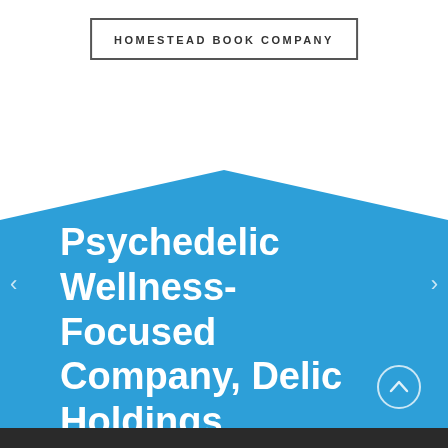HOMESTEAD BOOK COMPANY
Psychedelic Wellness-Focused Company, Delic Holdings, Announces Acquisition of Homestead